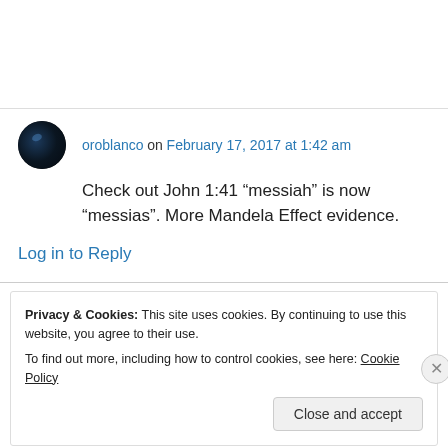oroblanco on February 17, 2017 at 1:42 am
Check out John 1:41 “messiah” is now “messias”. More Mandela Effect evidence.
Log in to Reply
Privacy & Cookies: This site uses cookies. By continuing to use this website, you agree to their use. To find out more, including how to control cookies, see here: Cookie Policy
Close and accept